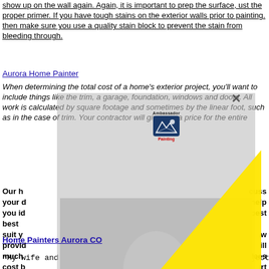show up on the wall again. Again, it is important to prep the surface, ust the proper primer. If you have tough stains on the exterior walls prior to painting. then make sure you use a quality stain block to prevent the stain from bleeding through.
Aurora Home Painter
When determining the total cost of a home's exterior project, you'll want to include things like the trim, a garage, foundation, windows and doors. All work is calculated by square footage and sometimes by the linear foot, such as in the case of trim. Your contractor will give you a price for the entire ... separa...
[Figure (photo): Black and white photo of a man in a suit with a polka dot tie and pocket square, with Ambassador Painting logo and a bright yellow triangle overlay]
Our h...cuss your d...help you id...best suit y...provic...w much...ill cost b...fees for thi...t insigh...home!
Home Painters Aurora CO
“My wife and I have been using House Painters for project